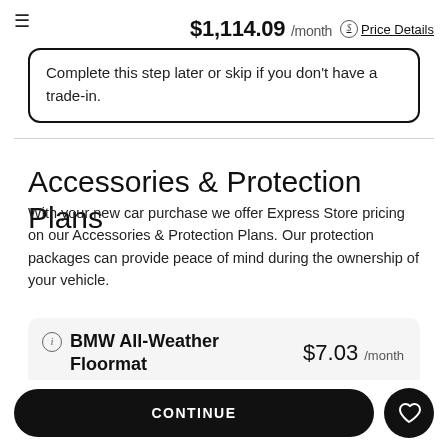$1,114.09 /month  Price Details
Complete this step later or skip if you don't have a trade-in.
Accessories & Protection Plans
With your new car purchase we offer Express Store pricing on our Accessories & Protection Plans. Our protection packages can provide peace of mind during the ownership of your vehicle.
BMW All-Weather Floormat  $7.03 /month
CONTINUE